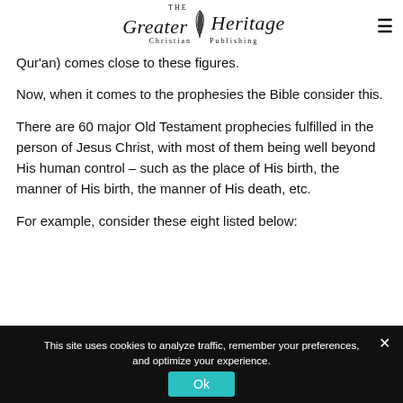THE Greater Heritage Christian Publishing
Qur'an) comes close to these figures.
Now, when it comes to the prophesies the Bible consider this.
There are 60 major Old Testament prophecies fulfilled in the person of Jesus Christ, with most of them being well beyond His human control – such as the place of His birth, the manner of His birth, the manner of His death, etc.
For example, consider these eight listed below:
This site uses cookies to analyze traffic, remember your preferences, and optimize your experience.